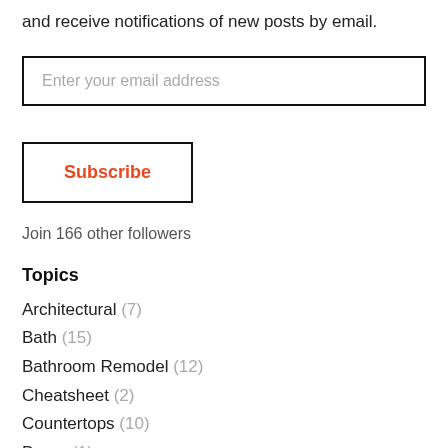and receive notifications of new posts by email.
Enter your email address
Subscribe
Join 166 other followers
Topics
Architectural (7)
Bath (15)
Bathroom Remodel (12)
Cheatsheet (2)
Countertops (10)
Decor (1)
Fireplace (5)